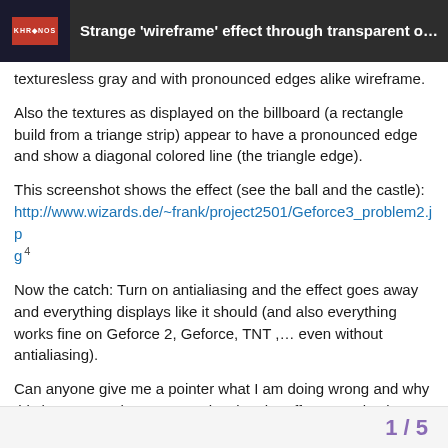Strange 'wireframe' effect through transparent o...
texturesless gray and with pronounced edges alike wireframe.
Also the textures as displayed on the billboard (a rectangle build from a triange strip) appear to have a pronounced edge and show a diagonal colored line (the triangle edge).
This screenshot shows the effect (see the ball and the castle): http://www.wizards.de/~frank/project2501/Geforce3_problem2.jpg [4]
Now the catch: Turn on antialiasing and the effect goes away and everything displays like it should (and also everything works fine on Geforce 2, Geforce, TNT ,… even without antialiasing).
Can anyone give me a pointer what I am doing wrong and why this happens? The program showing the effect can also be downloaded from http://www.wizards.de/~frank/project2501/ [2]
1 / 5